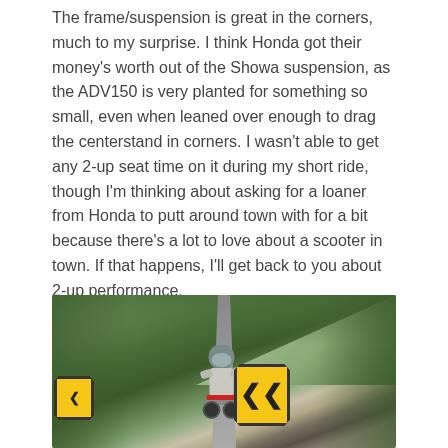The frame/suspension is great in the corners, much to my surprise. I think Honda got their money's worth out of the Showa suspension, as the ADV150 is very planted for something so small, even when leaned over enough to drag the centerstand in corners. I wasn't able to get any 2-up seat time on it during my short ride, though I'm thinking about asking for a loaner from Honda to putt around town with for a bit because there's a lot to love about a scooter in town. If that happens, I'll get back to you about 2-up performance.
[Figure (photo): A rider on a scooter navigating a winding road through vegetation, with yellow warning chevron signs visible indicating a curve. The rider is wearing a helmet and light jacket.]